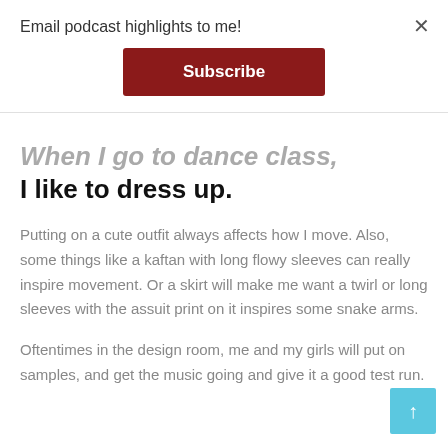Email podcast highlights to me!
Subscribe
When I go to dance class, I like to dress up.
Putting on a cute outfit always affects how I move. Also, some things like a kaftan with long flowy sleeves can really inspire movement. Or a skirt will make me want a twirl or long sleeves with the assuit print on it inspires some snake arms.
Oftentimes in the design room, me and my girls will put on samples, and get the music going and give it a good test run.